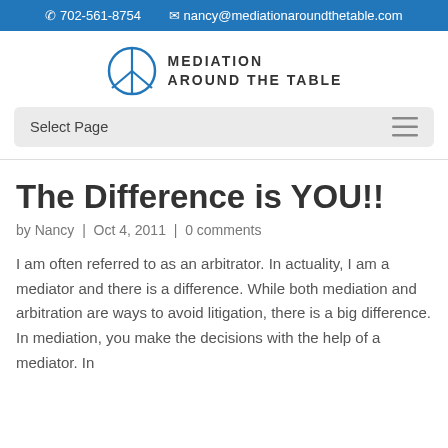702-561-8754  nancy@mediationaroundthetable.com
[Figure (logo): Mediation Around the Table logo with circular peace sign icon and text MEDIATION AROUND THE TABLE]
Select Page
The Difference is YOU!!
by Nancy | Oct 4, 2011 | 0 comments
I am often referred to as an arbitrator. In actuality, I am a mediator and there is a difference. While both mediation and arbitration are ways to avoid litigation, there is a big difference. In mediation, you make the decisions with the help of a mediator. In